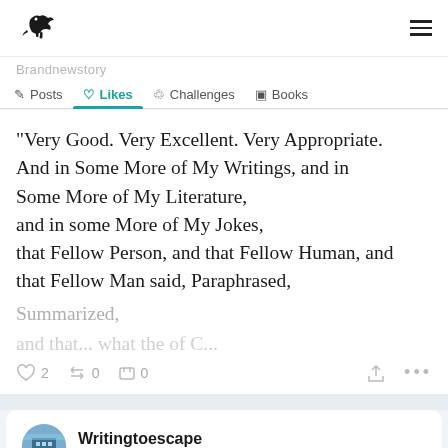Wattpad logo and hamburger menu
Posts  Likes  Challenges  Books
"Very Good. Very Excellent. Very Appropriate. And in Some More of My Writings, and in Some More of My Literature, and in some More of My Jokes, that Fellow Person, and that Fellow Human, and that Fellow Man said, Paraphrased, Summarized,
♡ 2   0   0
Writingtoescape
January 26 • 12 reads